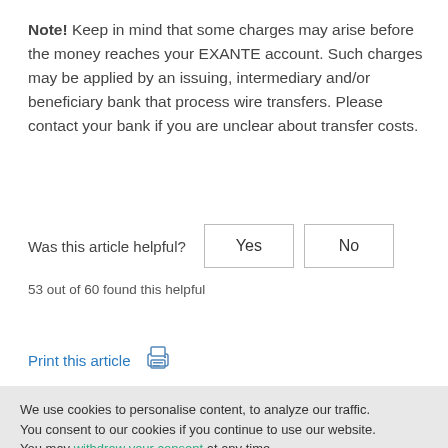Note! Keep in mind that some charges may arise before the money reaches your EXANTE account. Such charges may be applied by an issuing, intermediary and/or beneficiary bank that process wire transfers. Please contact your bank if you are unclear about transfer costs.
Was this article helpful?  Yes  No
53 out of 60 found this helpful
Print this article
We use cookies to personalise content, to analyze our traffic. You consent to our cookies if you continue to use our website. You may withdraw your consent at any time.
Allow all cookies